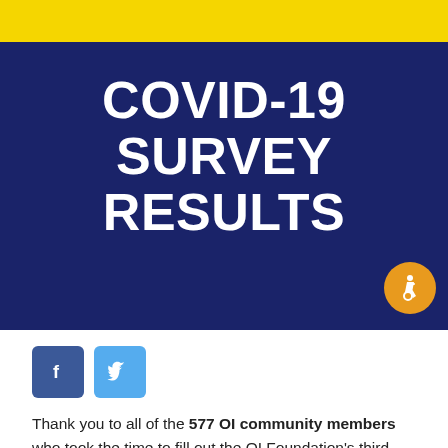[Figure (other): COVID-19 Survey Results banner with yellow top bar and dark navy background, large white bold text reading COVID-19 SURVEY RESULTS, with an orange accessibility icon in the bottom right corner]
COVID-19 SURVEY RESULTS
[Figure (other): Social media buttons: Facebook (blue square with f) and Twitter (light blue square with bird icon)]
Thank you to all of the 577 OI community members who took the time to fill out the OI Foundation’s third COVID-19 survey! Our goal